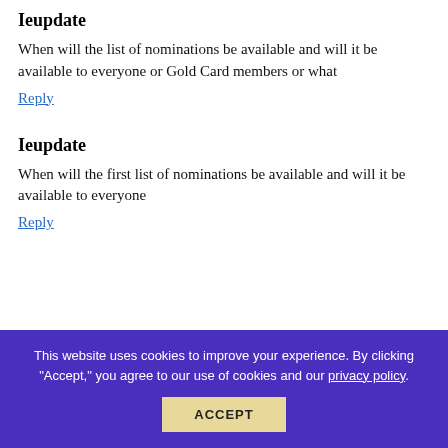Ieupdate
When will the list of nominations be available and will it be available to everyone or Gold Card members or what
Reply
Ieupdate
When will the first list of nominations be available and will it be available to everyone
Reply
This website uses cookies to improve your experience. By clicking "Accept," you agree to our use of cookies and our privacy policy.